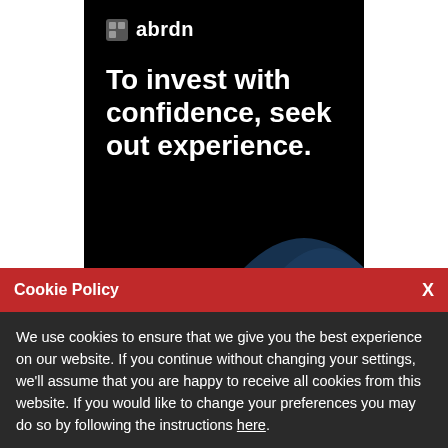[Figure (illustration): abrdn advertisement banner on black background. Shows the abrdn logo (square icon + wordmark) at top, followed by large white bold tagline: 'To invest with confidence, seek out experience.' A dark blue wave/curve decorates the bottom right corner.]
Cookie Policy
We use cookies to ensure that we give you the best experience on our website. If you continue without changing your settings, we'll assume that you are happy to receive all cookies from this website. If you would like to change your preferences you may do so by following the instructions here.